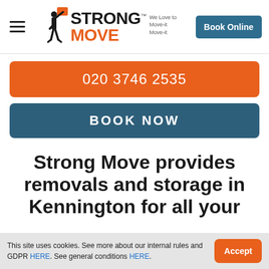[Figure (logo): Strong Move logo with figure carrying a box, orange and black text, tagline 'We Love to Move-it Move-it']
Book Online
020 3746 2535
BOOK NOW
Strong Move provides removals and storage in Kennington for all your
This site uses cookies. See more about our internal rules and GDPR HERE. See general conditions HERE.